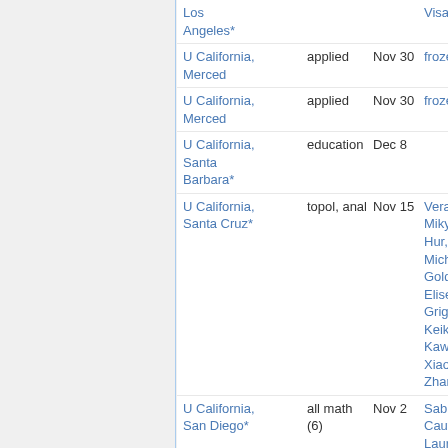| Institution | Area | Deadline | Contact |
| --- | --- | --- | --- |
| Los Angeles* |  |  | Visan |
| U California, Merced | applied | Nov 30 | frozen |
| U California, Merced | applied | Nov 30 | frozen |
| U California, Santa Barbara* | education | Dec 8 |  |
| U California, Santa Cruz* | topol, anal | Nov 15 | Vera Mikyoung Hur, Michael Goldberg, Elisenda Grigsby, Keiko Kawamuro, Xiaoyi Zhang |
| U California, San Diego* | all math (6) | Nov 2 | Sabin Cautis, Laurent |